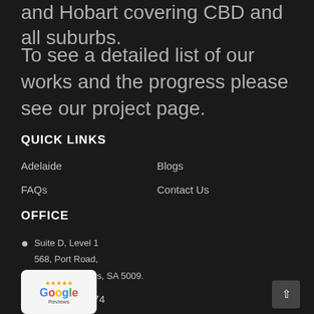and Hobart covering CBD and all suburbs.
To see a detailed list of our works and the progress please see our project page.
QUICK LINKS
Adelaide
Blogs
FAQs
Contact Us
OFFICE
Suite D, Level 1
568, Port Road,
Allenby Gardens, SA 5009.
08 7095 0274
[Figure (logo): Google Reviews badge with star rating]